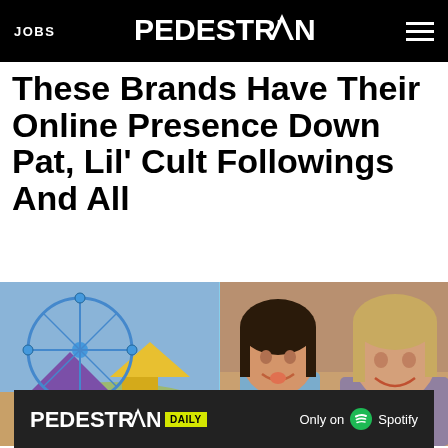JOBS | PEDESTRIAN | [menu]
These Brands Have Their Online Presence Down Pat, Lil' Cult Followings And All
[Figure (photo): Split image: left side shows a ferris wheel at a festival with crowd below, right side shows two smiling young women at an event]
[Figure (screenshot): Footer advertisement banner: PEDESTRIAN DAILY logo with yellow badge, 'Only on Spotify' text with Spotify logo, dark background]